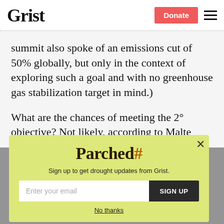Grist
summit also spoke of an emissions cut of 50% globally, but only in the context of exploring such a goal and with no greenhouse gas stabilization target in mind.)
What are the chances of meeting the 2° objective? Not likely, according to Malte
[Figure (infographic): Modal popup with lime-green background. Title: 'Parched' in bold serif font with cracked earth texture. Subtitle: 'Sign up to get drought updates from Grist.' Email input field with placeholder 'Enter your email' and a dark 'SIGN UP' button. 'No thanks' link at bottom. Close X button at top right.]